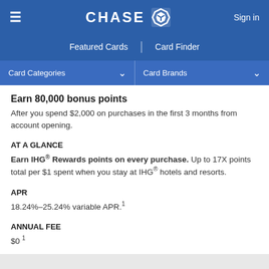CHASE — Sign in — Featured Cards | Card Finder — Card Categories | Card Brands
Earn 80,000 bonus points
After you spend $2,000 on purchases in the first 3 months from account opening.
AT A GLANCE
Earn IHG® Rewards points on every purchase. Up to 17X points total per $1 spent when you stay at IHG® hotels and resorts.
APR
18.24%–25.24% variable APR.¹
ANNUAL FEE
$0 ¹